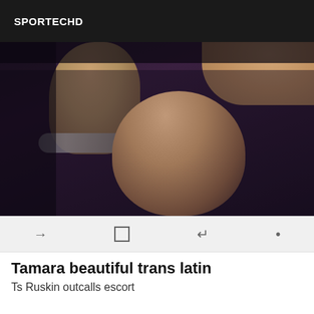SPORTECHD
[Figure (photo): Close-up photo of a person in a dark low-cut top, with jewelry visible on wrist and hand raised near face.]
Tamara beautiful trans latin
Ts Ruskin outcalls escort